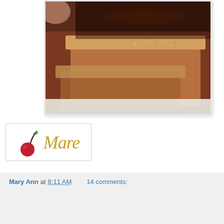[Figure (photo): Close-up photograph of a baked tart or pie crust in a fluted tart pan, showing golden-brown crumbly texture. A dark chocolate filling or glaze is visible in the background/top. The photo has a white border and slight drop shadow.]
[Figure (logo): Blog signature image featuring a red cherry with a dark stem on the left, and stylized gold italic text reading 'Mare' on the right, on a light background with a thin border.]
Mary Ann at 8:11 AM   14 comments:
Share